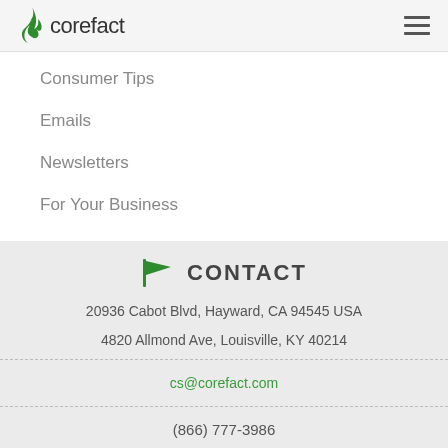corefact
Consumer Tips
Emails
Newsletters
For Your Business
CONTACT
20936 Cabot Blvd, Hayward, CA 94545 USA
4820 Allmond Ave, Louisville, KY 40214
cs@corefact.com
(866) 777-3986